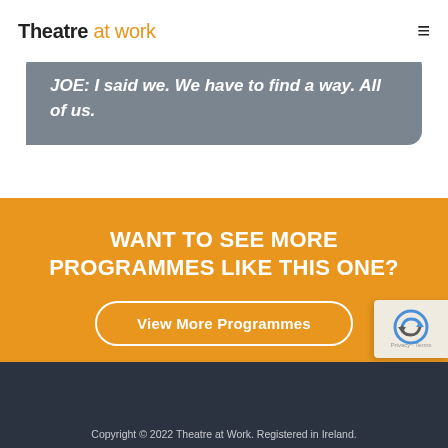Theatre at work
JOE: I said we. We have to find a way. All of us.
WANT TO SEE MORE PROGRAMMES LIKE THIS ONE?
View More Programmes
Copyright © 2022 Theatre at Work. Registered in Ireland.